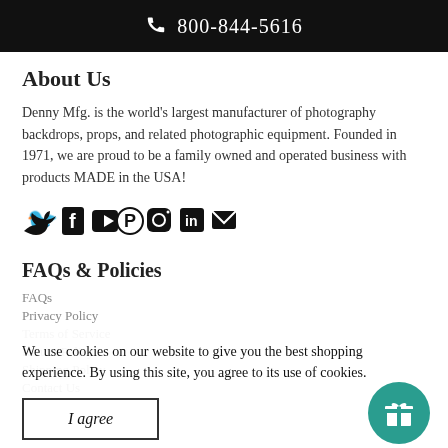800-844-5616
About Us
Denny Mfg. is the world's largest manufacturer of photography backdrops, props, and related photographic equipment. Founded in 1971, we are proud to be a family owned and operated business with products MADE in the USA!
[Figure (infographic): Social media icons: Twitter, Facebook, YouTube, Pinterest, Instagram, LinkedIn, Email]
FAQs & Policies
FAQs
Privacy Policy
Terms of Service
Return Policy
Shipping Policy
Contact Us
We use cookies on our website to give you the best shopping experience. By using this site, you agree to its use of cookies.